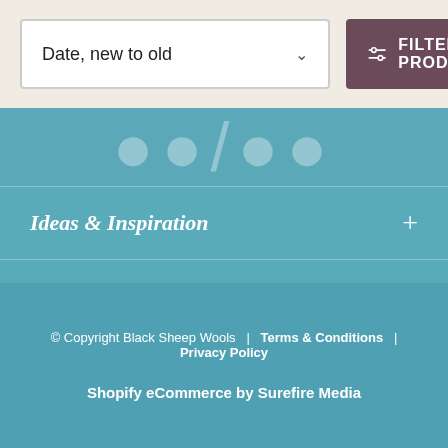Date, new to old
FILTER PRODUCTS
[Figure (screenshot): Social media icons strip partially visible]
Ideas & Inspiration
About Us
Customer Service
© Copyright Black Sheep Wools  |  Terms & Conditions  |  Privacy Policy
Shopify eCommerce by Surefire Media